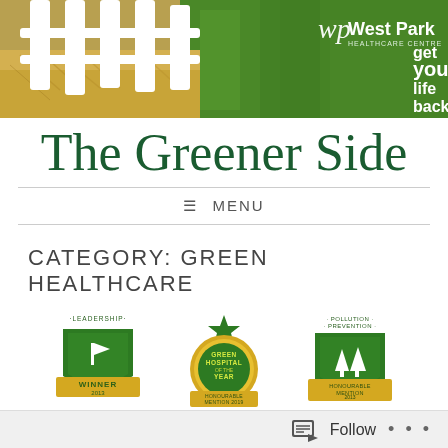[Figure (photo): West Park Healthcare Centre banner with white fence and green grass background, logo with tagline 'get your life back']
The Greener Side
≡ MENU
CATEGORY: GREEN HEALTHCARE
[Figure (illustration): Three award badges: Leadership Winner 2013 (green shield with flag), Green Hospital of the Year Honourable Mention 2019 (gold/green star badge), Pollution Prevention Honourable Mention 2013 (green shield with trees)]
Follow • • •